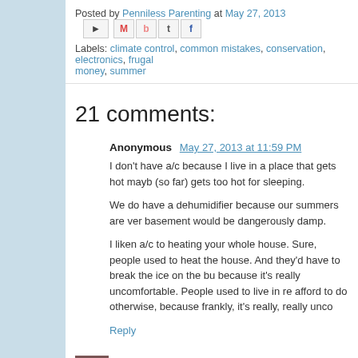Posted by Penniless Parenting at May 27, 2013
Labels: climate control, common mistakes, conservation, electronics, frugal money, summer
21 comments:
Anonymous May 27, 2013 at 11:59 PM
I don't have a/c because I live in a place that gets hot mayb (so far) gets too hot for sleeping.

We do have a dehumidifier because our summers are ver basement would be dangerously damp.

I liken a/c to heating your whole house. Sure, people used to heat the house. And they'd have to break the ice on the bu because it's really uncomfortable. People used to live in re afford to do otherwise, because frankly, it's really, really unco
Reply
Holly May 28, 2013 at 12:14 AM
We have the same sort of AC. Here we have thin wall...